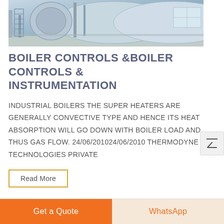[Figure (photo): Industrial boiler equipment in a facility — large cylindrical boiler tank with blue/grey tones, pipes, scaffolding, and factory floor visible]
BOILER CONTROLS &BOILER CONTROLS & INSTRUMENTATION
INDUSTRIAL BOILERS THE SUPER HEATERS ARE GENERALLY CONVECTIVE TYPE AND HENCE ITS HEAT ABSORPTION WILL GO DOWN WITH BOILER LOAD AND THUS GAS FLOW. 24/06/201024/06/2010 THERMODYNE TECHNOLOGIES PRIVATE
Read More
Get a Quote
WhatsApp